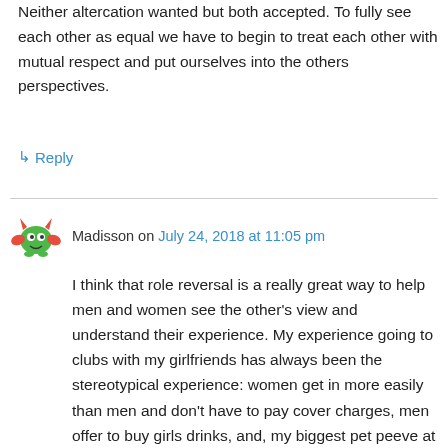Neither altercation wanted but both accepted. To fully see each other as equal we have to begin to treat each other with mutual respect and put ourselves into the others perspectives.
↳ Reply
Madisson on July 24, 2018 at 11:05 pm
I think that role reversal is a really great way to help men and women see the other's view and understand their experience. My experience going to clubs with my girlfriends has always been the stereotypical experience: women get in more easily than men and don't have to pay cover charges, men offer to buy girls drinks, and, my biggest pet peeve at a club, guys trying to